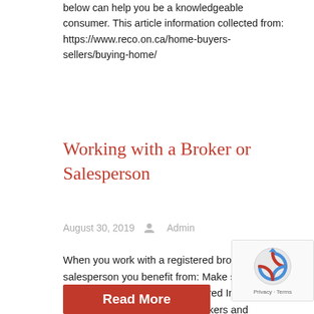below can help you be a knowledgeable consumer. This article information collected from: https://www.reco.on.ca/home-buyers-sellers/buying-home/
Working with a Broker or Salesperson
August 30, 2019   Admin
When you work with a registered broker or salesperson you benefit from: Make sure your broker or salesperson is registered In Ontario, in order to trade in real estate, brokers and salespersons must be registered under the Real Estate Business and Brokers Act,
Read More